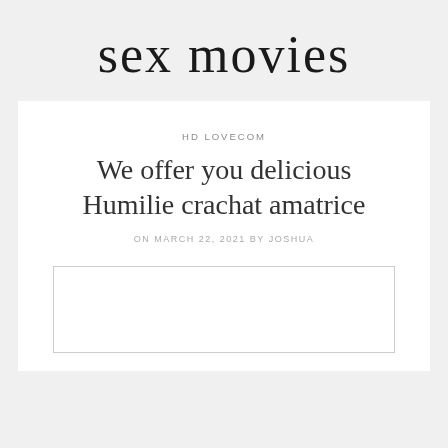sex movies
HD LOVECOM
We offer you delicious Humilie crachat amatrice
ON MARCH 22, 2021 BY JOSHUA
[Figure (other): Empty white rectangle with thin border, representing a placeholder image]